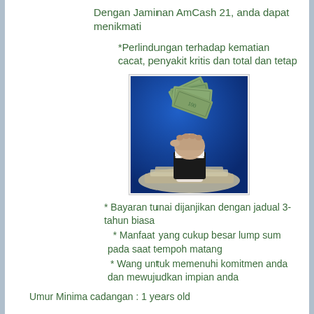Dengan Jaminan AmCash 21, anda dapat menikmati
*Perlindungan terhadap kematian cacat, penyakit kritis dan total dan tetap
[Figure (photo): A hand holding fanned-out dollar bills rising from a pile of cash against a blue background]
* Bayaran tunai dijanjikan dengan jadual 3-tahun biasa
* Manfaat yang cukup besar lump sum pada saat tempoh matang
* Wang untuk memenuhi komitmen anda dan mewujudkan impian anda
Umur Minima cadangan : 1 years old